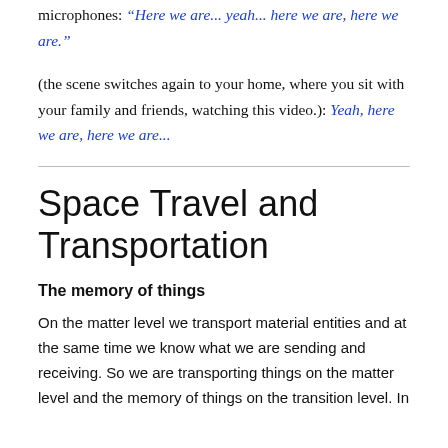microphones: "Here we are... yeah... here we are, here we are."
(the scene switches again to your home, where you sit with your family and friends, watching this video.): Yeah, here we are, here we are...
Space Travel and Transportation
The memory of things
On the matter level we transport material entities and at the same time we know what we are sending and receiving. So we are transporting things on the matter level and the memory of things on the transition level. In